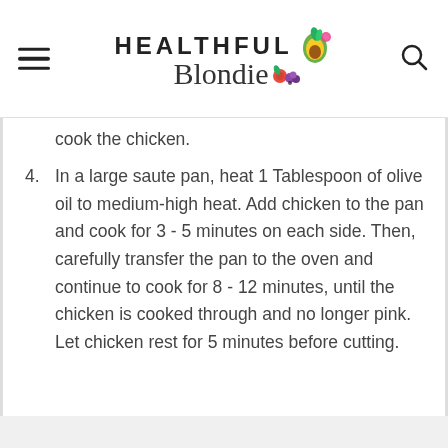HEALTHFUL Blondie
cook the chicken.
4. In a large saute pan, heat 1 Tablespoon of olive oil to medium-high heat. Add chicken to the pan and cook for 3 - 5 minutes on each side. Then, carefully transfer the pan to the oven and continue to cook for 8 - 12 minutes, until the chicken is cooked through and no longer pink. Let chicken rest for 5 minutes before cutting.